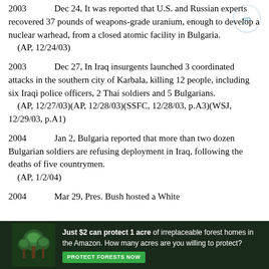2003   Dec 24, It was reported that U.S. and Russian experts recovered 37 pounds of weapons-grade uranium, enough to develop a nuclear warhead, from a closed atomic facility in Bulgaria.
    (AP, 12/24/03)
2003   Dec 27, In Iraq insurgents launched 3 coordinated attacks in the southern city of Karbala, killing 12 people, including six Iraqi police officers, 2 Thai soldiers and 5 Bulgarians.
    (AP, 12/27/03)(AP, 12/28/03)(SSFC, 12/28/03, p.A3)(WSJ, 12/29/03, p.A1)
2004   Jan 2, Bulgaria reported that more than two dozen Bulgarian soldiers are refusing deployment in Iraq, following the deaths of five countrymen.
    (AP, 1/2/04)
2004   Mar 29, Pres. Bush hosted a White
[Figure (infographic): Advertisement banner with forest/nature background image on left, text reading 'Just $2 can protect 1 acre of irreplaceable forest homes in the Amazon. How many acres are you willing to protect?' with a green 'PROTECT FORESTS NOW' button.]